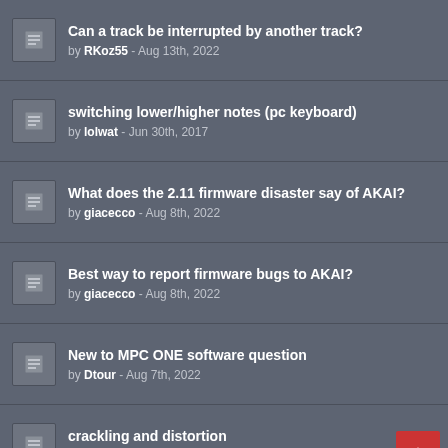Can a track be interrupted by another track? by RKoz55 - Aug 13th, 2022
switching lower/higher notes (pc keyboard) by lolwat - Jun 30th, 2017
What does the 2.11 firmware disaster say of AKAI? by giacecco - Aug 8th, 2022
Best way to report firmware bugs to AKAI? by giacecco - Aug 8th, 2022
New to MPC ONE software question by Dtour - Aug 7th, 2022
crackling and distortion by CHILLYBILLY - Jul 30th, 2022